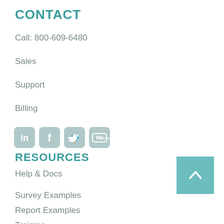CONTACT
Call: 800-609-6480
Sales
Support
Billing
[Figure (illustration): Social media icons: LinkedIn, Facebook, Twitter, YouTube]
RESOURCES
Help & Docs
Survey Examples
Report Examples
Training
[Figure (illustration): Back to top button: teal square with white upward chevron arrow]